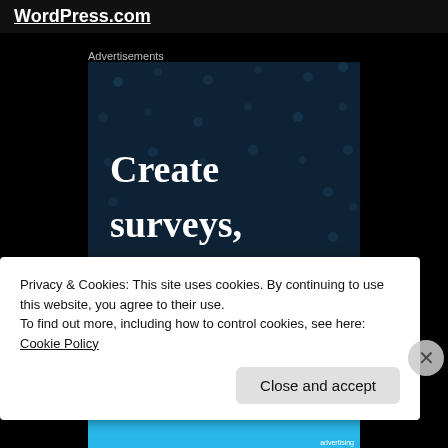WordPress.com
Advertisements
[Figure (screenshot): Dark blue advertisement banner with dot pattern background showing text: 'Create surveys, polls, quizzes']
Privacy & Cookies: This site uses cookies. By continuing to use this website, you agree to their use.
To find out more, including how to control cookies, see here: Cookie Policy
Close and accept